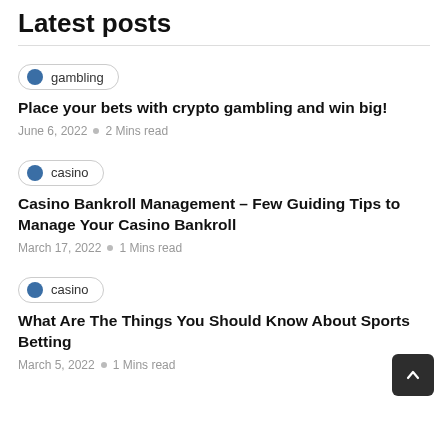Latest posts
gambling — Place your bets with crypto gambling and win big! — June 6, 2022 · 2 Mins read
casino — Casino Bankroll Management – Few Guiding Tips to Manage Your Casino Bankroll — March 17, 2022 · 1 Mins read
casino — What Are The Things You Should Know About Sports Betting — March 5, 2022 · 1 Mins read